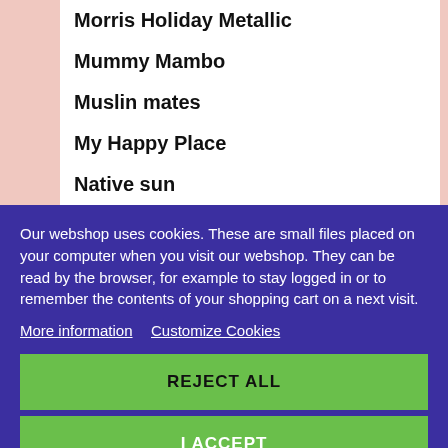Morris Holiday Metallic
Mummy Mambo
Muslin mates
My Happy Place
Native sun
Nature Outdoors
Notting Hill
Nuns
One of a Kind
Our webshop uses cookies. These are small files placed on your computer when you visit our webshop. They can be read by the browser, for example to stay logged in or to remember the contents of your shopping cart on a next visit.
More information   Customize Cookies
REJECT ALL
I ACCEPT
PB&I